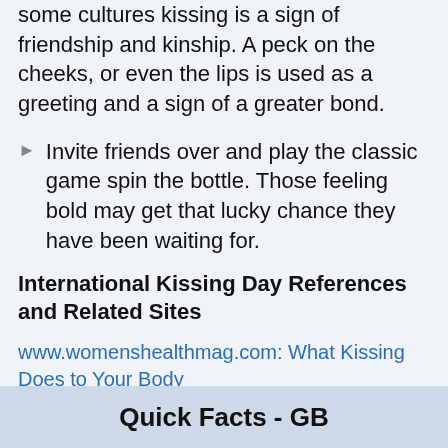some cultures kissing is a sign of friendship and kinship. A peck on the cheeks, or even the lips is used as a greeting and a sign of a greater bond.
Invite friends over and play the classic game spin the bottle. Those feeling bold may get that lucky chance they have been waiting for.
International Kissing Day References and Related Sites
www.womenshealthmag.com: What Kissing Does to Your Body
www.healthline.com: Benefits of Kissing
www.amjmed.com: American Journal of Medicine Kissing facts
Quick Facts - GB